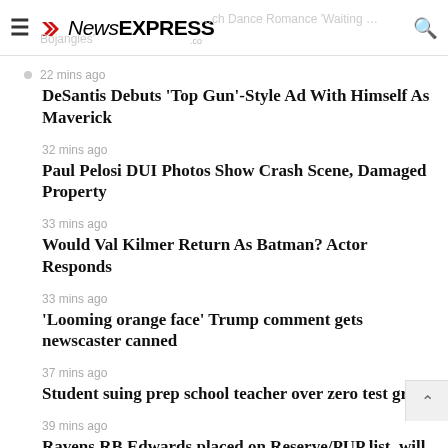NewsEXPRESS
22 mins ago
DeSantis Debuts 'Top Gun'-Style Ad With Himself As Maverick
32 mins ago
Paul Pelosi DUI Photos Show Crash Scene, Damaged Property
33 mins ago
Would Val Kilmer Return As Batman? Actor Responds
33 mins ago
'Looming orange face' Trump comment gets newscaster canned
37 mins ago
Student suing prep school teacher over zero test grade
39 mins ago
Ravens RB Edwards placed on Reserve/PUP list, will miss first four games of season